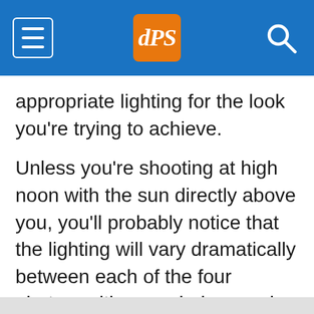dPS navigation header with hamburger menu, logo, and search icon
appropriate lighting for the look you're trying to achieve.
Unless you're shooting at high noon with the sun directly above you, you'll probably notice that the lighting will vary dramatically between each of the four photos, with some being much more visually appealing than others. This gives you a great starting point to be able to visually “see” the light and quickly determine which direction you'd like your subject to be facing for your